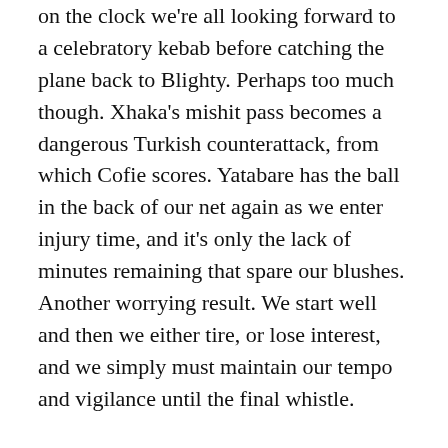on the clock we're all looking forward to a celebratory kebab before catching the plane back to Blighty. Perhaps too much though. Xhaka's mishit pass becomes a dangerous Turkish counterattack, from which Cofie scores. Yatabare has the ball in the back of our net again as we enter injury time, and it's only the lack of minutes remaining that spare our blushes. Another worrying result. We start well and then we either tire, or lose interest, and we simply must maintain our tempo and vigilance until the final whistle.
Back in the league we're taking on relegation threatened Sheffield United, who are fielding a FM2020 favourite of mine in former Derby full-back Jayden Bogle. Sutalo scores for them but we add three of our own, courtesy of Xhaka (making up for his Sivasspor error), Aubameyang and a rare Bellerin strike. It's good stuff on the whole, an instance of us outplaying the opposition, though the rough play on both sides is not for the faint hearted. The